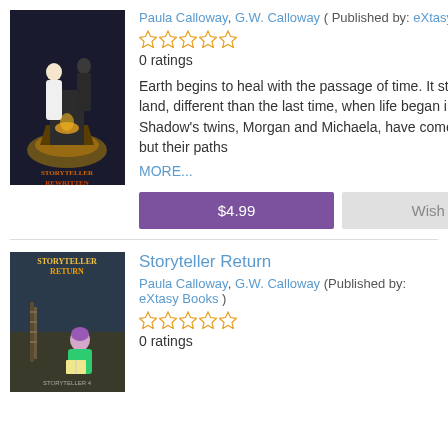[Figure (illustration): Book cover for Storyteller Rewritten showing a woman in white dress and dark figure with mystical cauldron]
Paula Calloway, G.W. Calloway ( Published by: eXtasy Books )
[Figure (other): Five empty star rating icons]
0 ratings
Earth begins to heal with the passage of time. It starts with the land, different than the last time, when life began in the sea. Shadow's twins, Morgan and Michaela, have come a long way, but their paths
MORE...
$4.99
Wish list
Storyteller Return
Paula Calloway, G.W. Calloway (Published by: eXtasy Books )
[Figure (other): Five empty star rating icons]
0 ratings
[Figure (illustration): Book cover for Storyteller Return showing a girl with purple hair reading a book]